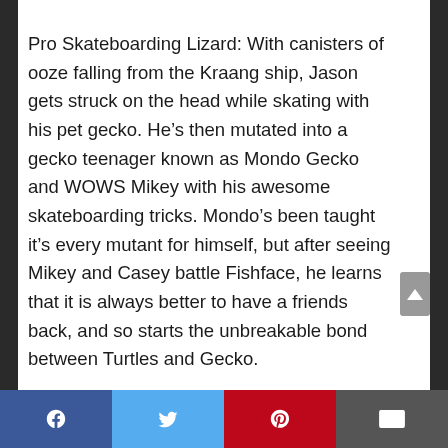Pro Skateboarding Lizard: With canisters of ooze falling from the Kraang ship, Jason gets struck on the head while skating with his pet gecko. He's then mutated into a gecko teenager known as Mondo Gecko and WOWS Mikey with his awesome skateboarding tricks. Mondo's been taught it's every mutant for himself, but after seeing Mikey and Casey battle Fishface, he learns that it is always better to have a friends back, and so starts the unbreakable bond between Turtles and Gecko.
Facebook | Twitter | Pinterest | Email